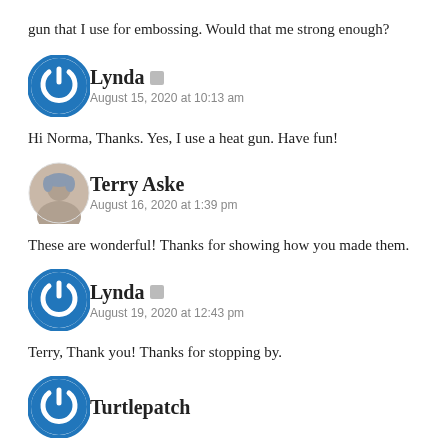gun that I use for embossing. Would that me strong enough?
Lynda — August 15, 2020 at 10:13 am
Hi Norma, Thanks. Yes, I use a heat gun. Have fun!
Terry Aske — August 16, 2020 at 1:39 pm
These are wonderful! Thanks for showing how you made them.
Lynda — August 19, 2020 at 12:43 pm
Terry, Thank you! Thanks for stopping by.
Turtlepatch